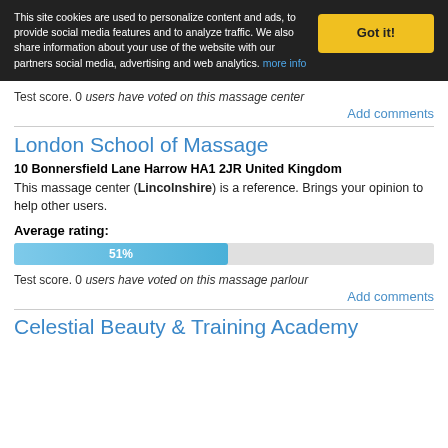This site cookies are used to personalize content and ads, to provide social media features and to analyze traffic. We also share information about your use of the website with our partners social media, advertising and web analytics. more info
Got it!
Test score. 0 users have voted on this massage center
Add comments
London School of Massage
10 Bonnersfield Lane Harrow HA1 2JR United Kingdom
This massage center (Lincolnshire) is a reference. Brings your opinion to help other users.
Average rating:
[Figure (bar-chart): Average rating]
Test score. 0 users have voted on this massage parlour
Add comments
Celestial Beauty & Training Academy